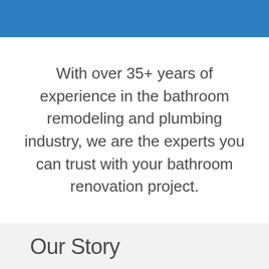[Figure (other): Blue decorative banner at the top of the page]
With over 35+ years of experience in the bathroom remodeling and plumbing industry, we are the experts you can trust with your bathroom renovation project.
Our Story